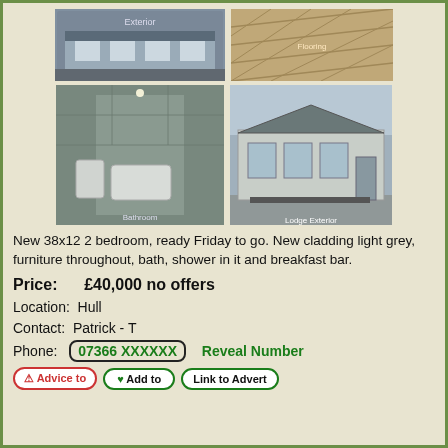[Figure (photo): Top row: exterior photo of static caravan (left), flooring detail photo (right)]
[Figure (photo): Middle row: bathroom interior photo (left), exterior of holiday lodge with grey cladding (right)]
New 38x12 2 bedroom, ready Friday to go. New cladding light grey, furniture throughout, bath, shower in it and breakfast bar.
Price:      £40,000 no offers
Location:  Hull
Contact:  Patrick - T
Phone:  07366 XXXXXX    Reveal Number
⚠ Advice to   ♥ Add to   Link to Advert